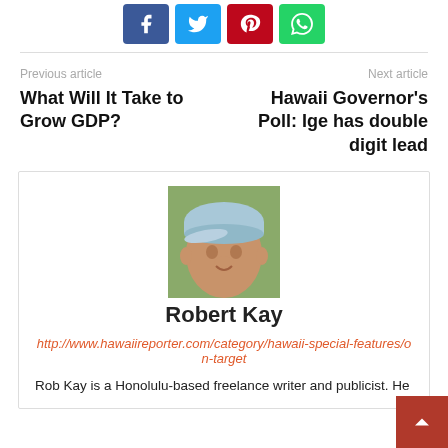[Figure (other): Social sharing buttons: Facebook (blue), Twitter (light blue), Pinterest (red), WhatsApp (green)]
Previous article
What Will It Take to Grow GDP?
Next article
Hawaii Governor's Poll: Ige has double digit lead
[Figure (photo): Headshot of Robert Kay, a middle-aged man wearing a light blue cap, outdoors with greenery in background]
Robert Kay
http://www.hawaiireporter.com/category/hawaii-special-features/on-target
Rob Kay is a Honolulu-based freelance writer and publicist. He